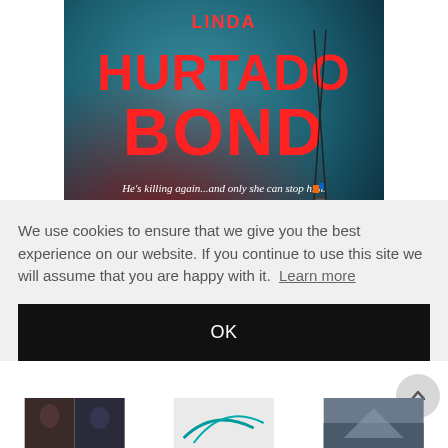[Figure (illustration): Book cover of 'All The...' by Linda Hurtado Bond. Red text reading 'HURTADO BOND' on a teal/dark background with a necklace hanging. Tagline: 'He's killing again...and only she can stop him.' Large white text at bottom reading 'all the']
We use cookies to ensure that we give you the best experience on our website. If you continue to use this site we will assume that you are happy with it.  Learn more
OK
[Figure (photo): Three small thumbnail images at the bottom of the page showing partial book covers or photos]